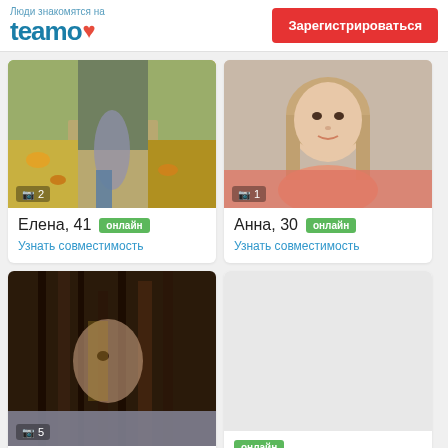[Figure (logo): Teamo dating site logo with heart icon and subtitle 'Люди знакомятся на']
Зарегистрироваться
[Figure (photo): Profile photo of Elena - outdoor autumn scene, woman on brick path with fallen leaves]
Елена, 41  онлайн
Узнать совместимость
[Figure (photo): Profile photo of Anna - selfie of young woman with long blonde hair]
Анна, 30  онлайн
Узнать совместимость
[Figure (photo): Profile photo of third user - close-up portrait with dark hair]
5 photos counter